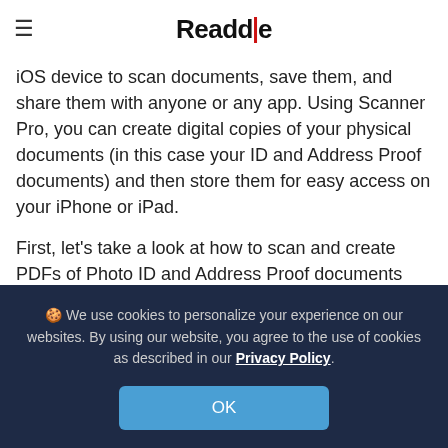Readdle
iOS device to scan documents, save them, and share them with anyone or any app. Using Scanner Pro, you can create digital copies of your physical documents (in this case your ID and Address Proof documents) and then store them for easy access on your iPhone or iPad.
First, let's take a look at how to scan and create PDFs of Photo ID and Address Proof documents using your iPhone or iPad.
🍪 We use cookies to personalize your experience on our websites. By using our website, you agree to the use of cookies as described in our Privacy Policy.